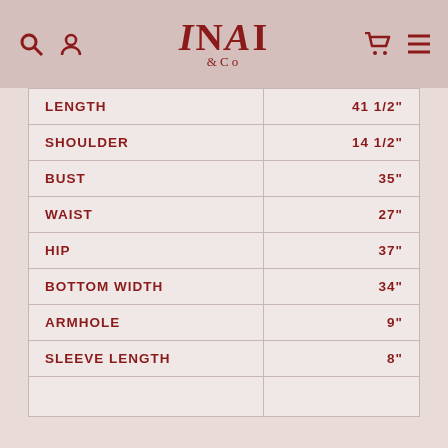INAI &Co
| LENGTH | 41 1/2" |
| SHOULDER | 14 1/2" |
| BUST | 35" |
| WAIST | 27" |
| HIP | 37" |
| BOTTOM WIDTH | 34" |
| ARMHOLE | 9" |
| SLEEVE LENGTH | 8" |